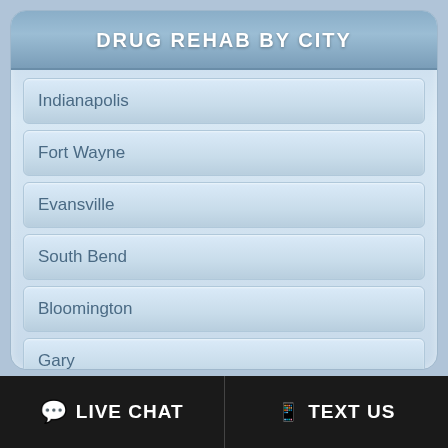DRUG REHAB BY CITY
Indianapolis
Fort Wayne
Evansville
South Bend
Bloomington
Gary
Muncie
Elkhart
Terre Haute
LIVE CHAT   TEXT US